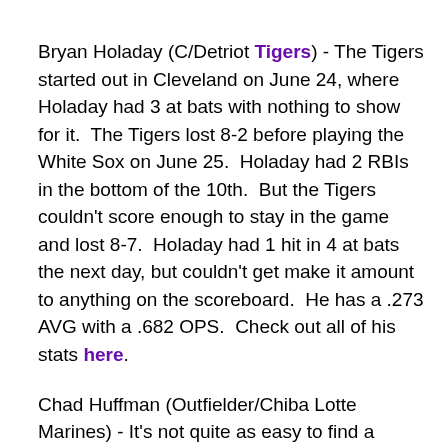Bryan Holaday (C/Detriot Tigers) - The Tigers started out in Cleveland on June 24, where Holaday had 3 at bats with nothing to show for it.  The Tigers lost 8-2 before playing the White Sox on June 25.  Holaday had 2 RBIs in the bottom of the 10th.  But the Tigers couldn't score enough to stay in the game and lost 8-7.  Holaday had 1 hit in 4 at bats the next day, but couldn't get make it amount to anything on the scoreboard.  He has a .273 AVG with a .682 OPS.  Check out all of his stats here.
Chad Huffman (Outfielder/Chiba Lotte Marines) - It's not quite as easy to find a plethora of stats for the